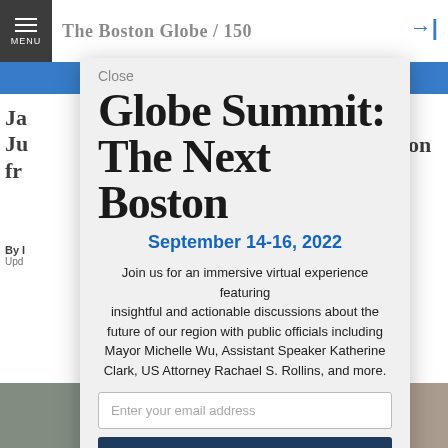MENU | The Boston Globe / 150
Globe Summit: The Next Boston
September 14-16, 2022
Join us for an immersive virtual experience featuring insightful and actionable discussions about the future of our region with public officials including Mayor Michelle Wu, Assistant Speaker Katherine Clark, US Attorney Rachael S. Rollins, and more.
Enter your email address
RSVP Now